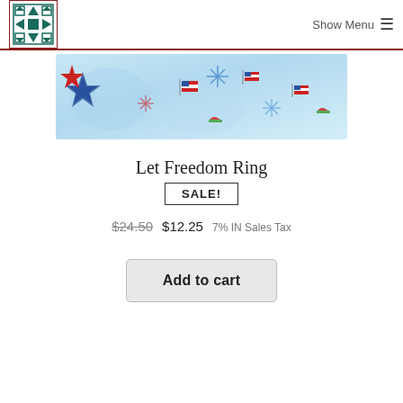Show Menu ☰
[Figure (photo): Patriotic fabric pattern with American flags, fireworks, stars in red, white and blue on a light blue watercolor background. A red star and blue star are visible on the left side.]
Let Freedom Ring
SALE!
$24.50  $12.25  7% IN Sales Tax
Add to cart